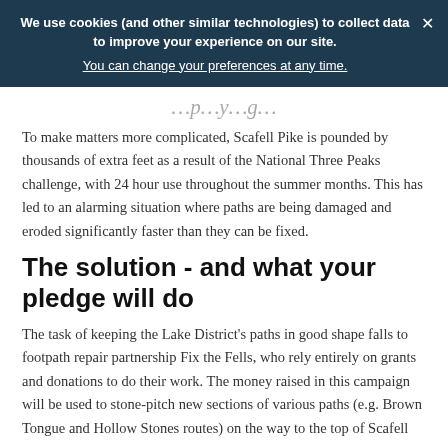We use cookies (and other similar technologies) to collect data to improve your experience on our site. You can change your preferences at any time.
…p…y…g…
To make matters more complicated, Scafell Pike is pounded by thousands of extra feet as a result of the National Three Peaks challenge, with 24 hour use throughout the summer months. This has led to an alarming situation where paths are being damaged and eroded significantly faster than they can be fixed.
The solution - and what your pledge will do
The task of keeping the Lake District's paths in good shape falls to footpath repair partnership Fix the Fells, who rely entirely on grants and donations to do their work. The money raised in this campaign will be used to stone-pitch new sections of various paths (e.g. Brown Tongue and Hollow Stones routes) on the way to the top of Scafell